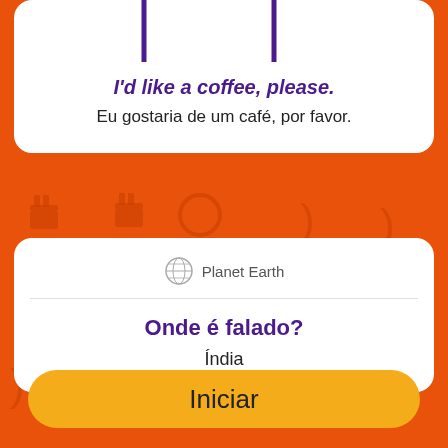[Figure (screenshot): Partial phone/card graphic at top with purple border visible]
I'd like a coffee, please.
Eu gostaria de um café, por favor.
[Figure (illustration): Planet Earth globe icon]
Onde é falado?
Índia
Iniciar